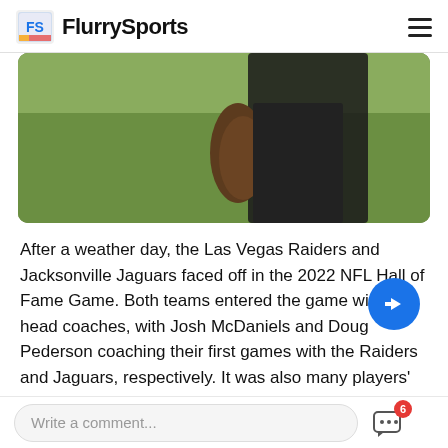FlurrySports
[Figure (photo): Partial view of an athlete's legs/body on a green field background, cropped photo showing lower body of a person in dark clothing]
After a weather day, the Las Vegas Raiders and Jacksonville Jaguars faced off in the 2022 NFL Hall of Fame Game. Both teams entered the game with new head coaches, with Josh McDaniels and Doug Pederson coaching their first games with the Raiders and Jaguars, respectively. It was also many players' first taste of NFL action with their new teams, including Raiders rookie running back Zamir White.
Read full story >
Write a comment...